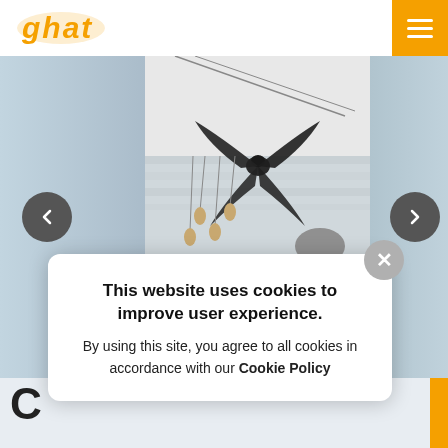[Figure (screenshot): Website screenshot showing a home goods/fan retailer site (ghat) with a carousel image of a ceiling fan installed in a living room, navigation arrows, slide counter 1/35, and a cookie consent popup overlay.]
This website uses cookies to improve user experience. By using this site, you agree to all cookies in accordance with our Cookie Policy